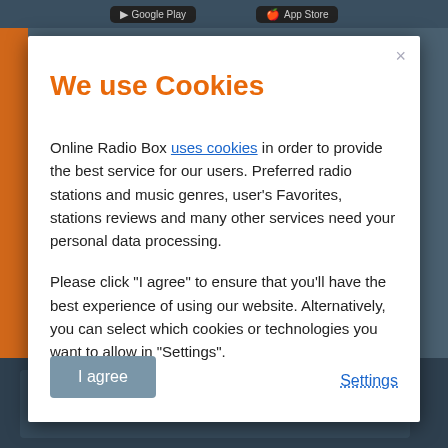We use Cookies
Online Radio Box uses cookies in order to provide the best service for our users. Preferred radio stations and music genres, user's Favorites, stations reviews and many other services need your personal data processing.
Please click "I agree" to ensure that you'll have the best experience of using our website. Alternatively, you can select which cookies or technologies you want to allow in "Settings".